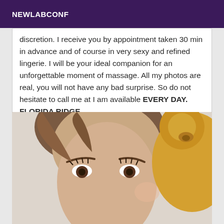NEWLABCONF
discretion. I receive you by appointment taken 30 min in advance and of course in very sexy and refined lingerie. I will be your ideal companion for an unforgettable moment of massage. All my photos are real, you will not have any bad surprise. So do not hesitate to call me at I am available EVERY DAY. FLORIDA RIDGE
[Figure (photo): Close-up photo of a young woman with light brown hair, holding or leaning against a large yellow/golden stuffed teddy bear, against a light background.]